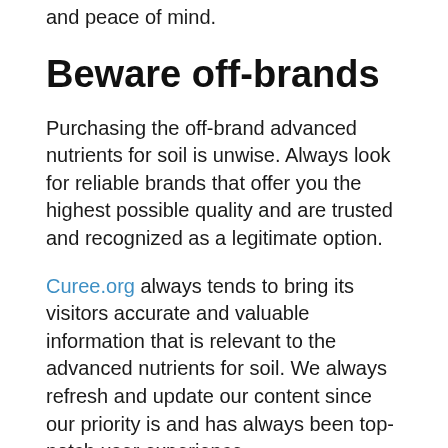High quality product equals wise investment and peace of mind.
Beware off-brands
Purchasing the off-brand advanced nutrients for soil is unwise. Always look for reliable brands that offer you the highest possible quality and are trusted and recognized as a legitimate option.
Curee.org always tends to bring its visitors accurate and valuable information that is relevant to the advanced nutrients for soil. We always refresh and update our content since our priority is and has always been top-notch user experience.